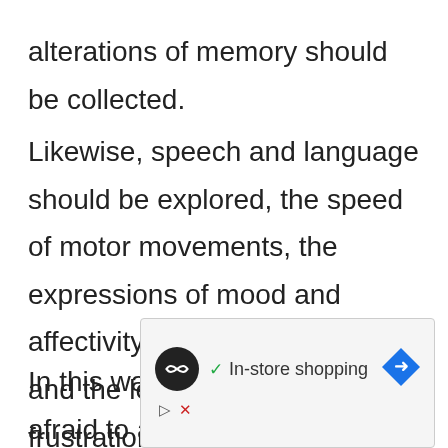alterations of memory should be collected.
Likewise, speech and language should be explored, the speed of motor movements, the expressions of mood and affectivity, suicidal impulses and the level of tolerance to frustrations.
In this way, one should not be afraid to ask directly for ideas of suicide if one connotes